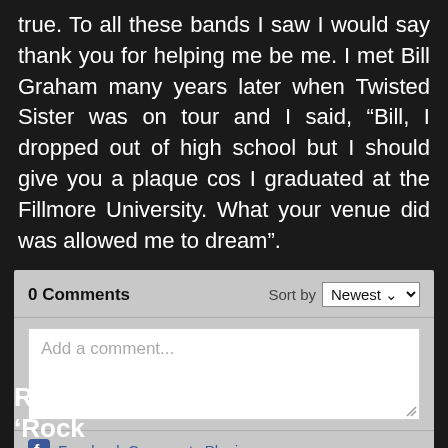true. To all these bands I saw I would say thank you for helping me be me. I met Bill Graham many years later when Twisted Sister was on tour and I said, “Bill, I dropped out of high school but I should give you a plaque cos I graduated at the Fillmore University. What your venue did was allowed me to dream”.
[Figure (screenshot): Facebook comments widget showing 0 Comments with Sort by Newest dropdown, a comment input box with placeholder 'Add a comment...', and Facebook Comments Plugin footer link.]
Reissued — KK Wilde’s 1990 ‘Rock